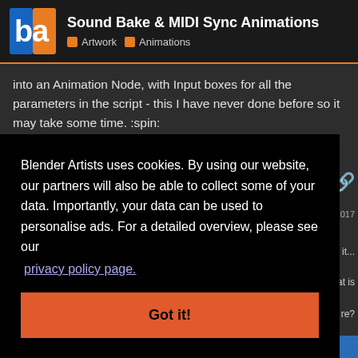Sound Bake & MIDI Sync Animations | Artwork | Animations
into an Animation Node, with Input boxes for all the parameters in the script - this I have never done before so it may take some time. :spin:
Cheers, Clock. 😛
Blender Artists uses cookies. By using our website, our partners will also be able to collect some of your data. Importantly, your data can be used to personalise ads. For a detailed overview, please see our privacy policy page.
Got it!
Oct 2017
in it...
hat is
re?